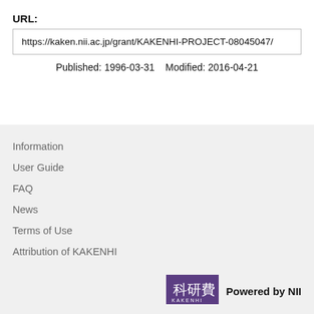URL:
https://kaken.nii.ac.jp/grant/KAKENHI-PROJECT-08045047/
Published: 1996-03-31   Modified: 2016-04-21
Information
User Guide
FAQ
News
Terms of Use
Attribution of KAKENHI
[Figure (logo): KAKENHI logo in purple with Japanese characters 科研費 and text KAKENHI below]
Powered by NII